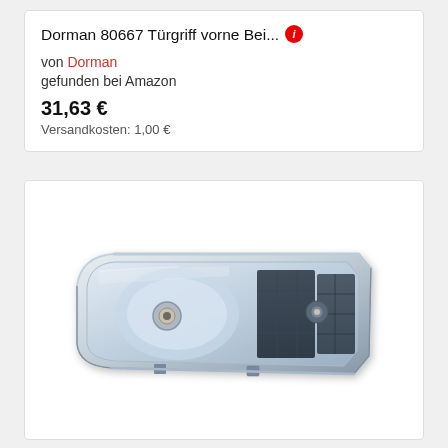Dorman 80667 Türgriff vorne Bei… ℹ
von Dorman
gefunden bei Amazon
31,63 €
Versandkosten: 1,00 €
[Figure (photo): Chrome automotive headlight assembly with clear lens, rectangular shape with rounded left corner, showing internal reflector and bulb housing]